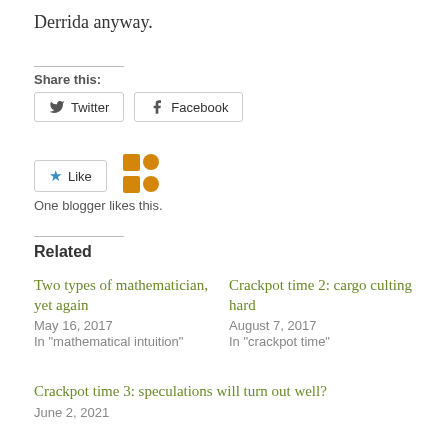Derrida anyway.
Share this:
Twitter
Facebook
Like
One blogger likes this.
Related
Two types of mathematician, yet again
May 16, 2017
In "mathematical intuition"
Crackpot time 2: cargo culting hard
August 7, 2017
In "crackpot time"
Crackpot time 3: speculations will turn out well?
June 2, 2021